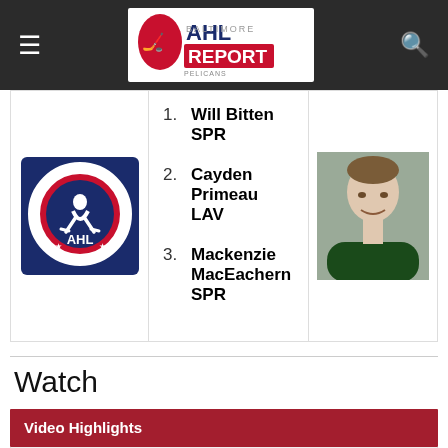AHL Report
1. Will Bitten  SPR
2. Cayden Primeau  LAV
3. Mackenzie MacEachern  SPR
Watch
Video Highlights
[Figure (screenshot): Video thumbnail showing SPR @ LAV (2022/06/08) with dark arena background]